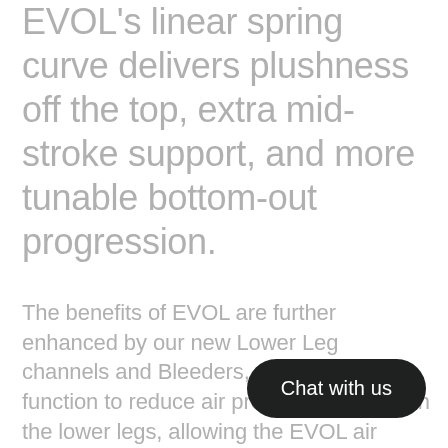EVOL's linear spring curve delivers plushness off the top, extra mid-stroke support, and more tunable bottom-out progression.
The benefits of EVOL are further enhanced by our new Lower Leg channels and Bleeders, which both function to reduce air pressure captured in the lower legs, allowing the EVOL air spring to operate freely without unintended interference.
Chat with us